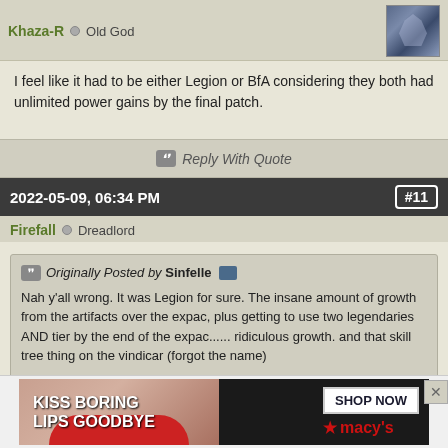Khaza-R  Old God
I feel like it had to be either Legion or BfA considering they both had unlimited power gains by the final patch.
Reply With Quote
2022-05-09, 06:34 PM  #11
Firefall  Dreadlord
Originally Posted by Sinfelle
Nah y'all wrong. It was Legion for sure. The insane amount of growth from the artifacts over the expac, plus getting to use two legendaries AND tier by the end of the expac...... ridiculous growth. and that skill tree thing on the vindicar (forgot the name)

like look at the 12mil dps parse on antoran high command. best parse on nythendra in emerald nightmare was 800k, and that's at the end of 7.1 and definitely not week one numbers.
I think this is the correct answer. Felt really fitting too given Argus is
[Figure (photo): Macy's advertisement: KISS BORING LIPS GOODBYE with SHOP NOW button and Macy's star logo]